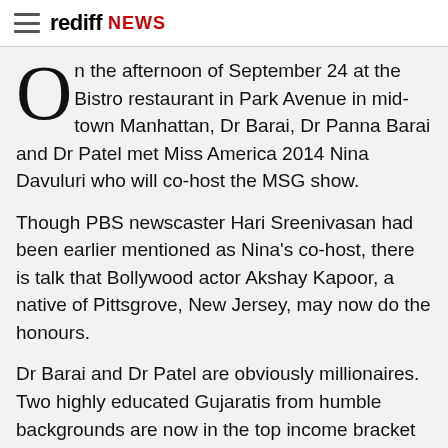rediff NEWS
On the afternoon of September 24 at the Bistro restaurant in Park Avenue in mid-town Manhattan, Dr Barai, Dr Panna Barai and Dr Patel met Miss America 2014 Nina Davuluri who will co-host the MSG show.
Though PBS newscaster Hari Sreenivasan had been earlier mentioned as Nina's co-host, there is talk that Bollywood actor Akshay Kapoor, a native of Pittsgrove, New Jersey, may now do the honours.
Dr Barai and Dr Patel are obviously millionaires. Two highly educated Gujaratis from humble backgrounds are now in the top income bracket in their adopted country. They did their master's here and worked up the ladder working sundry jobs.
At the Bistro they ordered just coffee. No show off of any kind. Both well-known personalities in the medical world came without their cars to the venue. Dr Barai, who came to the US as a medical intern, is a member of the